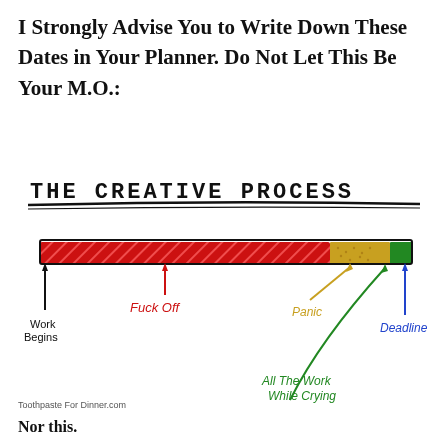I Strongly Advise You to Write Down These Dates in Your Planner. Do Not Let This Be Your M.O.:
[Figure (infographic): Hand-drawn infographic titled 'THE CREATIVE PROCESS' showing a horizontal bar representing a timeline. The bar is mostly red with diagonal hatching (labeled 'Fuck Off' in red with upward arrow), a gold/yellow section near the end (labeled 'Panic' in gold), and a small green section at the far right. The left end has a vertical black arrow labeled 'Work Begins'. A curved green arrow points to the end section labeled 'All The Work While Crying' in green. A blue upward arrow at the far right is labeled 'Deadline' in blue.]
Toothpaste For Dinner.com
Nor this.